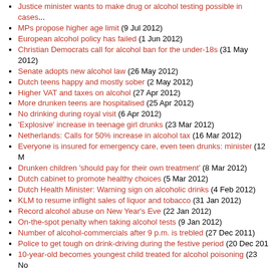Justice minister wants to make drug or alcohol testing possible in cases...
MPs propose higher age limit (9 Jul 2012)
European alcohol policy has failed (1 Jun 2012)
Christian Democrats call for alcohol ban for the under-18s (31 May 2012)
Senate adopts new alcohol law (26 May 2012)
Dutch teens happy and mostly sober (2 May 2012)
Higher VAT and taxes on alcohol (27 Apr 2012)
More drunken teens are hospitalised (25 Apr 2012)
No drinking during royal visit (6 Apr 2012)
'Explosive' increase in teenage girl drunks (23 Mar 2012)
Netherlands: Calls for 50% increase in alcohol tax (16 Mar 2012)
Everyone is insured for emergency care, even teen drunks: minister (12 M...
Drunken children 'should pay for their own treatment' (8 Mar 2012)
Dutch cabinet to promote healthy choices (5 Mar 2012)
Dutch Health Minister: Warning sign on alcoholic drinks (4 Feb 2012)
KLM to resume inflight sales of liquor and tobacco (31 Jan 2012)
Record alcohol abuse on New Year's Eve (22 Jan 2012)
On-the-spot penalty when taking alcohol tests (9 Jan 2012)
Number of alcohol-commercials after 9 p.m. is trebled (27 Dec 2011)
Police to get tough on drink-driving during the festive period (20 Dec 201...)
10-year-old becomes youngest child treated for alcohol poisoning (23 No...)
Children acquire alcohol effortlessly during events (12 Nov 2011)
Compliance with Alcohol Licensing and Catering Act seriously substand...
Boozers drive Queen's Day parties to suburbs (4 Nov 2011)
Petrol stations to start selling beer and wine again (19 Oct 2011)
Alcohol lock for Dutch drink drivers (5 Oct 2011)
Dutch schools are choosing alcohol-free school parties more often (27 Se...)
STAP demands First Chamber of Parliament a quick consideration of the... 2011)
Alcohol on family-camp-sites obtainable for 15-year old youngsters (8 Jul...)
The Netherlands gets a new Alcohol Licensing and Catering Act (30 Jun ...)
Price-actions for beer in the supermarket harmful for public health (7 Jun ...)
Violence committed under the influence of alcohol or drugs will be puni...